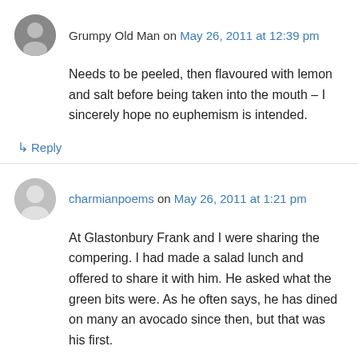Grumpy Old Man on May 26, 2011 at 12:39 pm
Needs to be peeled, then flavoured with lemon and salt before being taken into the mouth – I sincerely hope no euphemism is intended.
↳ Reply
charmianpoems on May 26, 2011 at 1:21 pm
At Glastonbury Frank and I were sharing the compering. I had made a salad lunch and offered to share it with him. He asked what the green bits were. As he often says, he has dined on many an avocado since then, but that was his first.